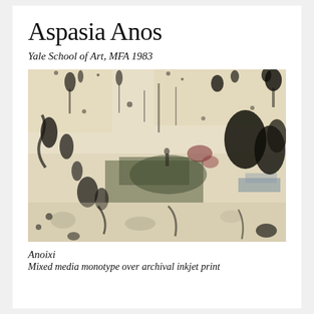Aspasia Anos
Yale School of Art, MFA 1983
[Figure (illustration): Abstract mixed media monotype artwork over archival inkjet print. The painting features dark gestural marks, splattered blacks, muted earth tones of beige, tan, and cream background with areas of dark green, burgundy, and blue-gray. Abstract expressionist style with layered textures suggesting landscape or foliage elements.]
Anoixi
Mixed media monotype over archival inkjet print